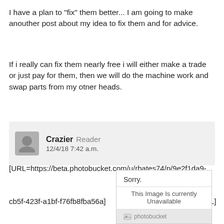I have a plan to "fix" them better... I am going to make anouther post about my idea to fix them and for advice.
If i really can fix them nearly free i will either make a trade or just pay for them, then we will do the machine work and swap parts from my otner heads.
Crazier  Reader
12/4/18 7:42 a.m.
[URL=https://beta.photobucket.com/u/rbates74/p/9e2f1da9-cb5f-423f-a1bf-f76fb8fba56a]  [/URL]
[Figure (screenshot): Photobucket image unavailable placeholder showing 'Sorry. This Image Is currently Unavailable' with photobucket logo]